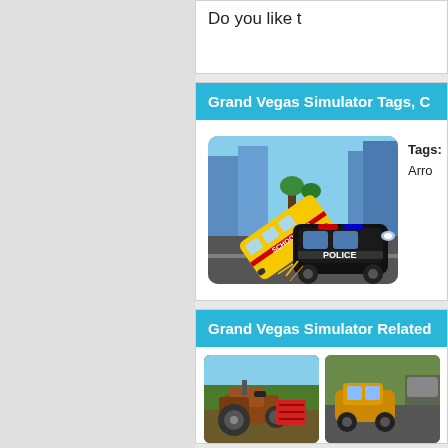Do you like t
Grand Vegas Simulator Tags, C
[Figure (photo): Police car ramming a yellow school bus in a city simulator game scene]
Tags:
Arro
Grand Vegas Simulator Related
[Figure (photo): Old rusty tractor in a farming simulator game]
[Figure (photo): Racing or driving game car scene]